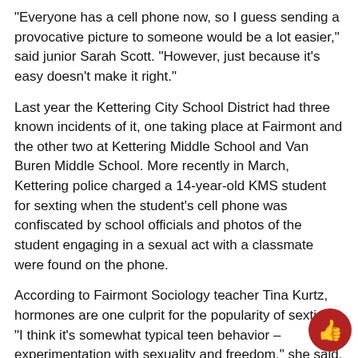“Everyone has a cell phone now, so I guess sending a provocative picture to someone would be a lot easier,” said junior Sarah Scott. “However, just because it’s easy doesn’t make it right.”
Last year the Kettering City School District had three known incidents of it, one taking place at Fairmont and the other two at Kettering Middle School and Van Buren Middle School. More recently in March, Kettering police charged a 14-year-old KMS student for sexting when the student’s cell phone was confiscated by school officials and photos of the student engaging in a sexual act with a classmate were found on the phone.
According to Fairmont Sociology teacher Tina Kurtz, hormones are one culprit for the popularity of sexting. “I think it’s somewhat typical teen behavior – experimentation with sexuality and freedom,” she said.
But this isn’t the only culprit. People are pointing their fingers at other things as well. “I don’t think you can blame the sexting on one or two things,” said South Unit Principal Dan VonHa… “I think the media, society and home life are all pieces that cause…